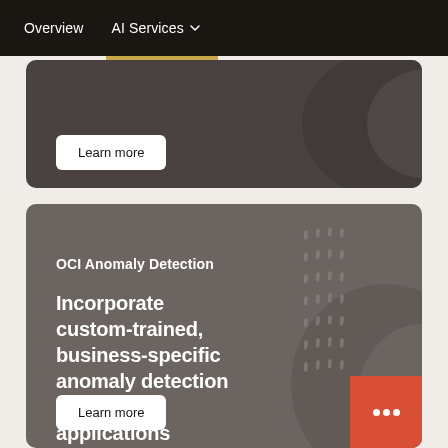Overview   AI Services
[Figure (screenshot): Partial dark-brown card with a Learn more button and decorative curved shapes on the right side]
Learn more
OCI Anomaly Detection
Incorporate custom-trained, business-specific anomaly detection models into applications
Learn more